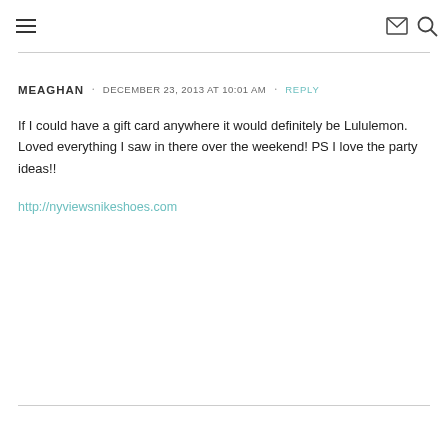☰  ✉ 🔍
MEAGHAN · DECEMBER 23, 2013 AT 10:01 AM · REPLY
If I could have a gift card anywhere it would definitely be Lululemon. Loved everything I saw in there over the weekend! PS I love the party ideas!!
http://nyviewsnikeshoes.com